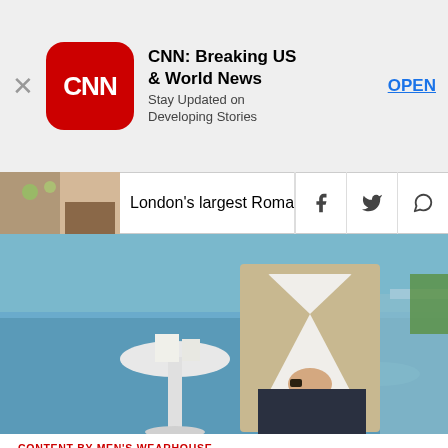[Figure (screenshot): CNN app advertisement banner with close button (X), CNN red rounded square logo, title 'CNN: Breaking US & World News', subtitle 'Stay Updated on Developing Stories', and blue OPEN button]
[Figure (screenshot): Navigation bar with thumbnail image of flowers/person, headline text 'London's largest Roman mo[saic]', and social share icons for Facebook, Twitter, and WhatsApp]
[Figure (photo): Man in tan/beige blazer over white shirt standing near a pool, holding a drink, with a white cocktail table behind him and a pool in the background]
CONTENT BY MEN'S WEARHOUSE
Essential fall items for weddings and work